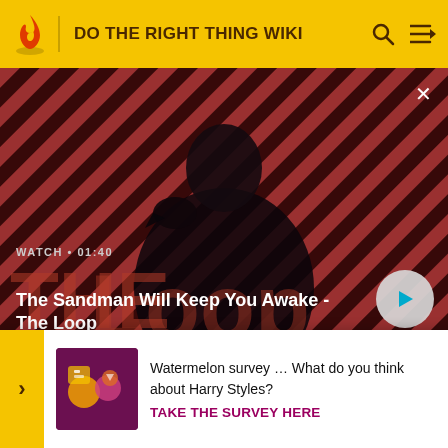DO THE RIGHT THING WIKI
[Figure (screenshot): Video thumbnail showing a dark figure with a raven on shoulder against red diagonal striped background. Text reads: WATCH • 01:40 / The Sandman Will Keep You Awake - The Loop. Play button visible on right.]
black viewers do not ask the question.[17]Lee believes the key point is that Mookie was angry at the death of Ra...
Rahe... justifi... betwe...
Watermelon survey … What do you think about Harry Styles?
TAKE THE SURVEY HERE